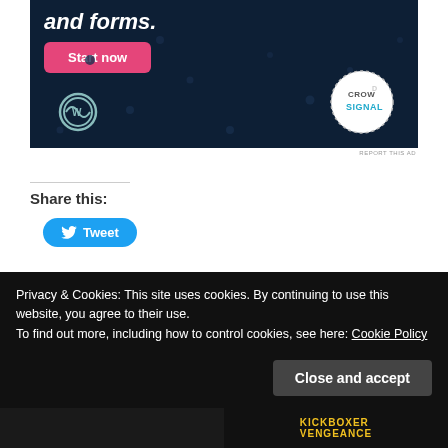[Figure (other): Advertisement banner for Crowdsignal on dark navy background with WordPress logo, pink 'Start now' button, and Crowdsignal circular badge. Text reads 'and forms.']
REPORT THIS AD
Share this:
[Figure (other): Twitter Tweet button in blue with bird icon]
[Figure (other): WordPress Like button with star icon, and a user avatar thumbnail]
Privacy & Cookies: This site uses cookies. By continuing to use this website, you agree to their use.
To find out more, including how to control cookies, see here: Cookie Policy
[Figure (other): Close and accept button for cookie notice]
[Figure (other): Bottom strip showing two movie images, one dark action film and one with KICKBOXER VENGEANCE text]